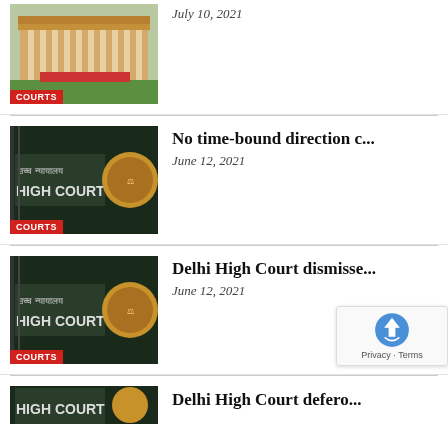[Figure (photo): Court building exterior with lawn and red flowers, COURTS badge overlay]
July 10, 2021
[Figure (photo): Delhi High Court sign in Hindi and English with gold emblem, COURTS badge overlay]
No time-bound direction c...
June 12, 2021
[Figure (photo): Delhi High Court sign in Hindi and English with gold emblem, COURTS badge overlay]
Delhi High Court dismisse...
June 12, 2021
[Figure (photo): Partial view of court building or sign at bottom of page]
Delhi High Court defero...